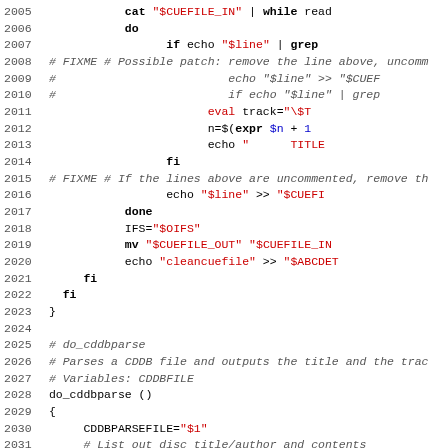[Figure (screenshot): Source code listing showing shell script lines 2005-2036, with syntax highlighting: line numbers in gray, keywords in bold black, string literals in red, variables in blue, comments in italic gray.]